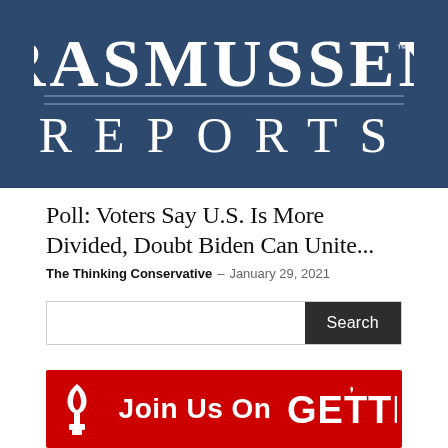[Figure (logo): Rasmussen Reports logo — white text on dark navy/slate blue background. Large serif 'RASMUSSEN' with TM mark on top line, horizontal rules, then 'REPORTS' spaced below.]
Poll: Voters Say U.S. Is More Divided, Doubt Biden Can Unite...
The Thinking Conservative – January 29, 2021
[Figure (screenshot): Search bar with text input field and dark 'Search' button on the right.]
[Figure (infographic): Red banner advertisement: 'Join Us On GETTR' with white torch/leaf icon on the left and GETTR logo text on the right, on a red background.]